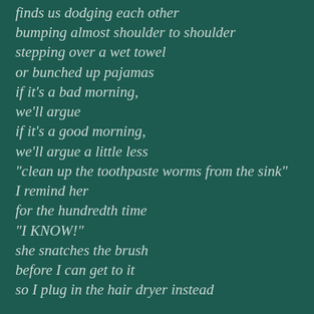finds us dodging each other
bumping almost shoulder to shoulder
stepping over a wet towel
or bunched up pajamas
if it's a bad morning,
we'll argue
if it's a good morning,
we'll argue a little less
"clean up the toothpaste worms from the sink"
I remind her
for the hundredth time
"I KNOW!"
she snatches the brush
before I can get to it
so I plug in the hair dryer instead